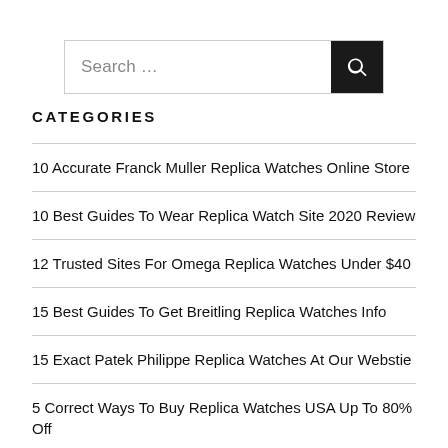[Figure (other): Search bar with text input and search button]
CATEGORIES
10 Accurate Franck Muller Replica Watches Online Store
10 Best Guides To Wear Replica Watch Site 2020 Review
12 Trusted Sites For Omega Replica Watches Under $40
15 Best Guides To Get Breitling Replica Watches Info
15 Exact Patek Philippe Replica Watches At Our Webstie
5 Correct Ways To Buy Replica Watches USA Up To 80% Off